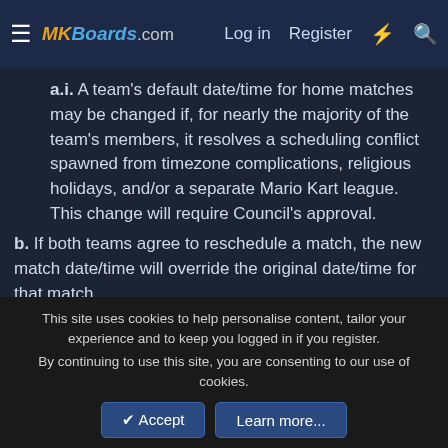MKBoards.com — Log in  Register
a.i. A team's default date/time for home matches may be changed if, for nearly the majority of the team's members, it resolves a scheduling conflict spawned from timezone complications, religious holidays, and/or a separate Mario Kart league. This change will require Council's approval.
b. If both teams agree to reschedule a match, the new match date/time will override the original date/time for that match.
c. Should a scheduled match coincide with a country's national or religious holiday, both teams are to play at a mutually agreed date/time. Should both teams fail to reach an agreement, they are to play at a date/time set by staff.
d. Should both teams fail to honor the agreed and/or set date/time for reschedules, replays or the completion of any remaining GP(s)/race(s), any scores presented may be counted as the final match result. If no GP(s)/race(s) are presented, the
This site uses cookies to help personalise content, tailor your experience and to keep you logged in if you register.
By continuing to use this site, you are consenting to our use of cookies.